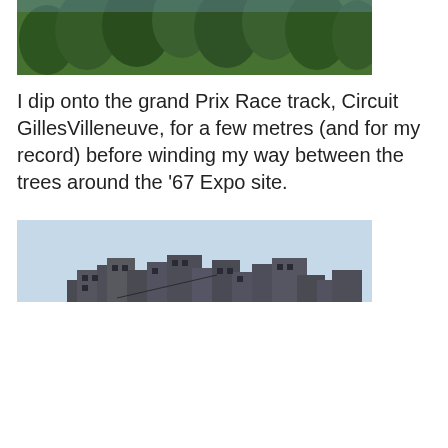[Figure (photo): Partial view of treetops and foliage, upper portion of an outdoor scene]
I dip onto the grand Prix Race track, Circuit GillesVilleneuve, for a few metres (and for my record) before winding my way between the trees around the '67 Expo site.
[Figure (photo): Brutalist concrete architecture building with stacked geometric modules visible against a light blue sky]
Privacy & Cookies: This site uses cookies. By continuing to use this website, you agree to their use.
To find out more, including how to control cookies, see here: Cookie Policy
Close and accept